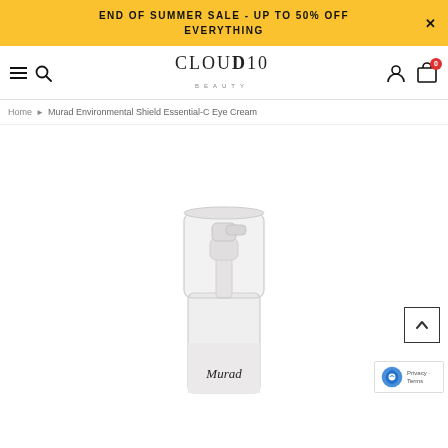END OF SUMMER SALE - UP TO 50% OFF EVERYTHING
[Figure (screenshot): Cloud10 Beauty e-commerce website navigation bar with hamburger menu, search icon, Cloud10 Beauty logo, user account icon, and cart icon with 0 badge]
Home ▶ Murad Environmental Shield Essential-C Eye Cream
[Figure (photo): Murad skincare product — a white pump dispenser bottle with clear cap, labeled Murad, shown from the front on a white background]